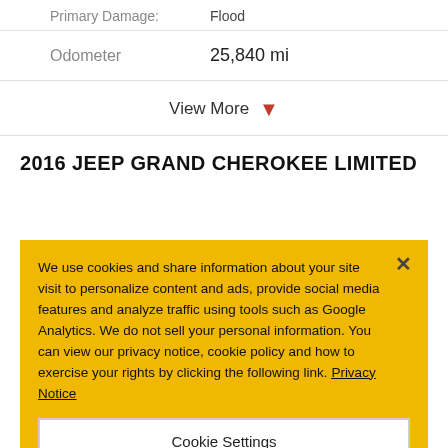Primary Damage: Flood
Odometer: 25,840 mi
View More
2016 JEEP GRAND CHEROKEE LIMITED
We use cookies and share information about your site visit to personalize content and ads, provide social media features and analyze traffic using tools such as Google Analytics. We do not sell your personal information. You can view our privacy notice, cookie policy and how to exercise your rights by clicking the following link. Privacy Notice
Cookie Settings
Reject All
Accept Cookies